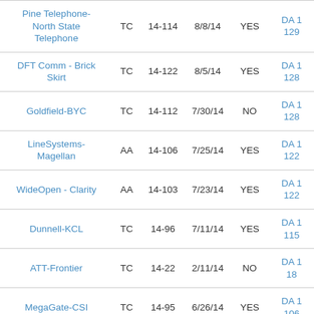| Name | Type | Docket | Date | Consent | DA |
| --- | --- | --- | --- | --- | --- |
| Pine Telephone-North State Telephone | TC | 14-114 | 8/8/14 | YES | DA 1
129 |
| DFT Comm - Brick Skirt | TC | 14-122 | 8/5/14 | YES | DA 1
128 |
| Goldfield-BYC | TC | 14-112 | 7/30/14 | NO | DA 1
128 |
| LineSystems-Magellan | AA | 14-106 | 7/25/14 | YES | DA 1
122 |
| WideOpen - Clarity | AA | 14-103 | 7/23/14 | YES | DA 1
122 |
| Dunnell-KCL | TC | 14-96 | 7/11/14 | YES | DA 1
115 |
| ATT-Frontier | TC | 14-22 | 2/11/14 | NO | DA 1
18_ |
| MegaGate-CSI | TC | 14-95 | 6/26/14 | YES | DA 1
106 |